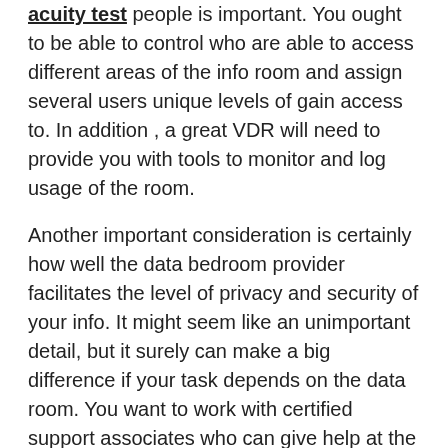acuity test people is important. You ought to be able to control who are able to access different areas of the info room and assign several users unique levels of gain access to. In addition , a great VDR will need to provide you with tools to monitor and log usage of the room.
Another important consideration is certainly how well the data bedroom provider facilitates the level of privacy and security of your info. It might seem like an unimportant detail, but it surely can make a big difference if your task depends on the data room. You want to work with certified support associates who can give help at the time you need it. You don't need to get the runaround from a call center or wait weeks for a remedy. Consider these 3 things when selecting a info room specialist.
First, ensure you have enough administrators. Data breaches are not uncommon, and individuals and companies equally do not consider their data security significantly. Avoid common